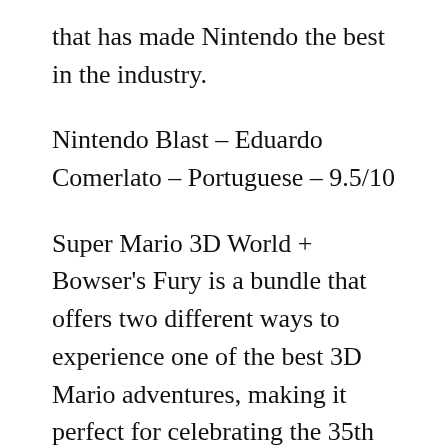that has made Nintendo the best in the industry.
Nintendo Blast – Eduardo Comerlato – Portuguese – 9.5/10
Super Mario 3D World + Bowser's Fury is a bundle that offers two different ways to experience one of the best 3D Mario adventures, making it perfect for celebrating the 35th anniversary of the franchise. There is no doubt that the game is able to retain elements from the past and draw majestic new additions around them, such as Bowser Jr.